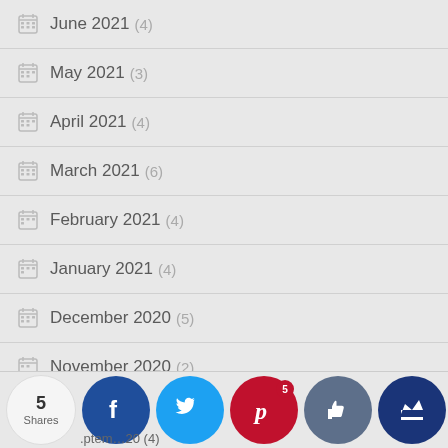June 2021 (4)
May 2021 (3)
April 2021 (4)
March 2021 (6)
February 2021 (4)
January 2021 (4)
December 2020 (5)
November 2020 (2)
October 2020 (3)
...September 2020 (4)
[Figure (screenshot): Social share bar with 5 Shares, Facebook, Twitter, Pinterest (5), thumbs-up, and crown buttons]